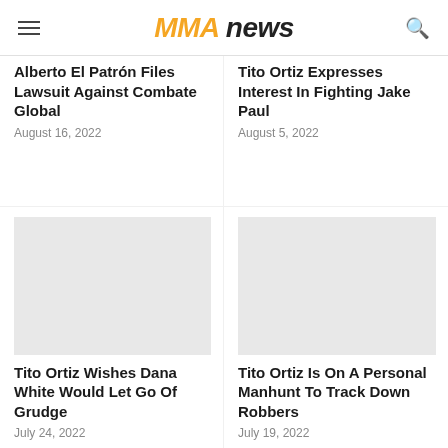MMA NEWS
Alberto El Patrón Files Lawsuit Against Combate Global
August 16, 2022
Tito Ortiz Expresses Interest In Fighting Jake Paul
August 5, 2022
Tito Ortiz Wishes Dana White Would Let Go Of Grudge
July 24, 2022
Tito Ortiz Is On A Personal Manhunt To Track Down Robbers
July 19, 2022